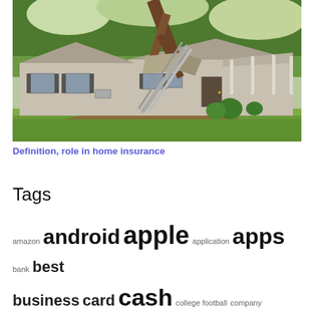[Figure (photo): A house with storm damage — a large fallen tree has crashed through the roof and front section of a single-story residential home. The house is gray/beige colored with a covered porch on the right side and green trees in the background.]
Definition, role in home insurance
Tags
amazon android apple application apps bank best business card cash college football company dating does download entertainment finance free from google icons insurance iphone like mobile money music